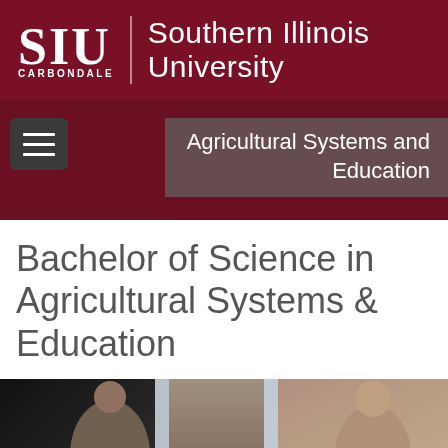SIU Southern Illinois University CARBONDALE
Agricultural Systems and Education
Bachelor of Science in Agricultural Systems & Education
[Figure (photo): Students in an educational setting, viewed through windows with natural light]
APPLY